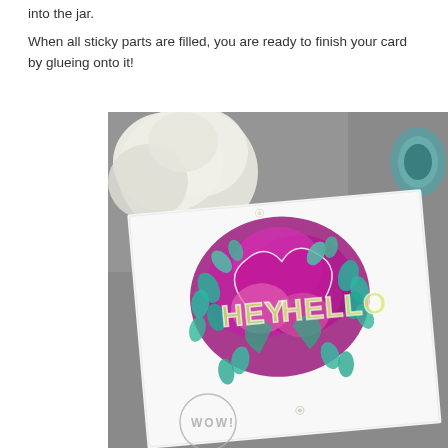into the jar.
When all sticky parts are filled, you are ready to finish your card by glueing onto it!
[Figure (photo): A decorative handmade card featuring a colorful glitter floral design with 'HEY HELLO' text, photographed on a grey background with white flowers in the upper left corner. A WOW logo watermark is visible in the bottom left. The card has purple, teal/green, and pink glitter sections with intricate die-cut floral and leaf shapes.]